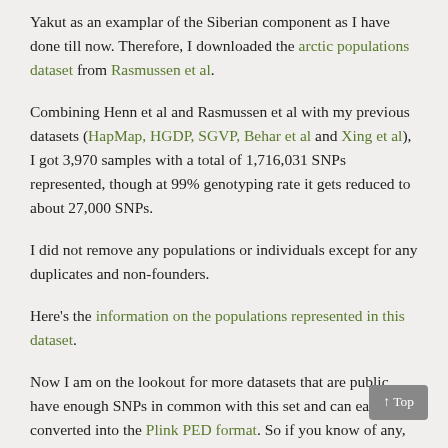Yakut as an examplar of the Siberian component as I have done till now. Therefore, I downloaded the arctic populations dataset from Rasmussen et al.
Combining Henn et al and Rasmussen et al with my previous datasets (HapMap, HGDP, SGVP, Behar et al and Xing et al), I got 3,970 samples with a total of 1,716,031 SNPs represented, though at 99% genotyping rate it gets reduced to about 27,000 SNPs.
I did not remove any populations or individuals except for any duplicates and non-founders.
Here's the information on the populations represented in this dataset.
Now I am on the lookout for more datasets that are public, have enough SNPs in common with this set and can easily be converted into the Plink PED format. So if you know of any, let me know. May be I will have the biggest and most diverse dataset with your help.
Share this: